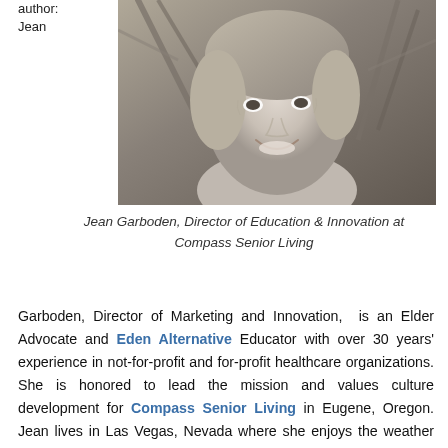author:
Jean
[Figure (photo): Black and white portrait photo of Jean Garboden, a woman with short hair, smiling outdoors]
Jean Garboden, Director of Education & Innovation at Compass Senior Living
Garboden, Director of Marketing and Innovation,  is an Elder Advocate and Eden Alternative Educator with over 30 years' experience in not-for-profit and for-profit healthcare organizations. She is honored to lead the mission and values culture development for Compass Senior Living in Eugene, Oregon. Jean lives in Las Vegas, Nevada where she enjoys the weather and volunteers with the Nevadans for the Common Good, advocating for caregivers and elders in southern